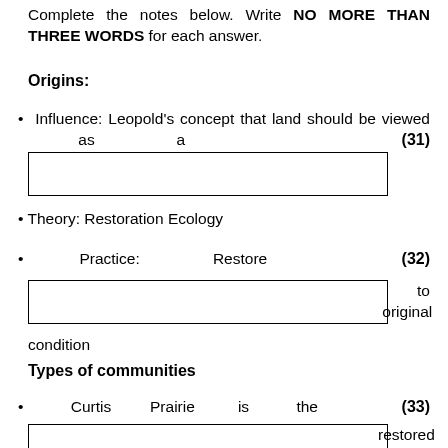Complete the notes below. Write NO MORE THAN THREE WORDS for each answer.
Origins:
Influence: Leopold's concept that land should be viewed as a (31)
Theory: Restoration Ecology
Practice: Restore (32) to original condition
Types of communities
Curtis Prairie is the (33) restored